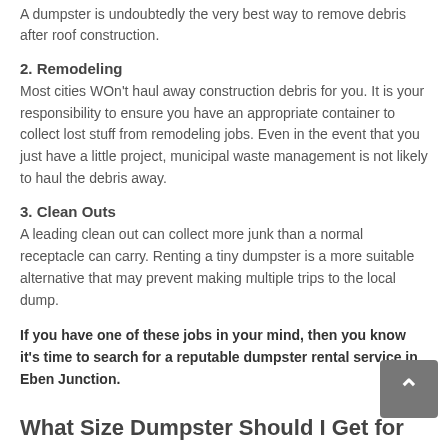A dumpster is undoubtedly the very best way to remove debris after roof construction.
2. Remodeling
Most cities WOn't haul away construction debris for you. It is your responsibility to ensure you have an appropriate container to collect lost stuff from remodeling jobs. Even in the event that you just have a little project, municipal waste management is not likely to haul the debris away.
3. Clean Outs
A leading clean out can collect more junk than a normal receptacle can carry. Renting a tiny dumpster is a more suitable alternative that may prevent making multiple trips to the local dump.
If you have one of these jobs in your mind, then you know it's time to search for a reputable dumpster rental service in Eben Junction.
What Size Dumpster Should I Get for